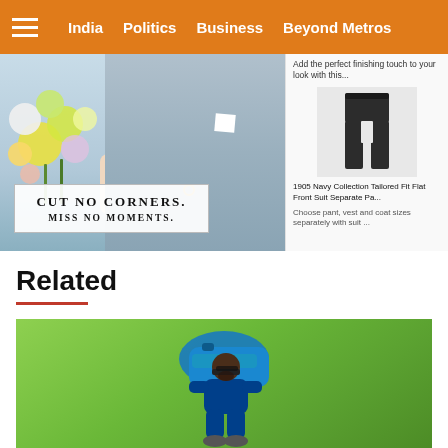India  Politics  Business  Beyond Metros
[Figure (photo): Advertisement: wedding couple with bouquet on left, product listing on right showing suit pants. Text overlay reads 'CUT NO CORNERS. MISS NO MOMENTS.' Product title: '1905 Navy Collection Tailored Fit Flat Front Suit Separate Pa...' Description: 'Choose pant vest and coat sizes separately with suit...']
Related
[Figure (photo): Cricket player in blue Indian team jersey carrying a blue bag, bending over on a green cricket field]